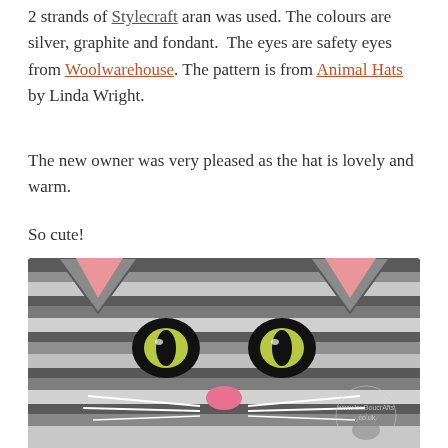2 strands of Stylecraft aran was used. The colours are silver, graphite and fondant. The eyes are safety eyes from Woolwarehouse. The pattern is from Animal Hats by Linda Wright.
The new owner was very pleased as the hat is lovely and warm.
So cute!
[Figure (photo): Close-up photograph of a crocheted cat hat in grey, white, and pink colours with safety eyes (yellow-green irises, black pupils), pink nose, white whiskers, and pink inner ear details. A watermark logo is visible in the bottom right corner.]